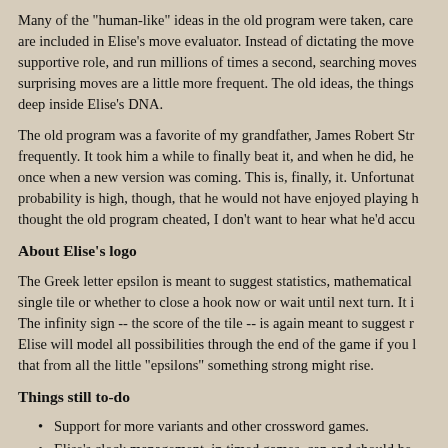Many of the "human-like" ideas in the old program were taken, care are included in Elise's move evaluator. Instead of dictating the move supportive role, and run millions of times a second, searching moves surprising moves are a little more frequent. The old ideas, the things deep inside Elise's DNA.
The old program was a favorite of my grandfather, James Robert Str frequently. It took him a while to finally beat it, and when he did, he once when a new version was coming. This is, finally, it. Unfortunat probability is high, though, that he would not have enjoyed playing h thought the old program cheated, I don't want to hear what he'd accu
About Elise's logo
The Greek letter epsilon is meant to suggest statistics, mathematical single tile or whether to close a hook now or wait until next turn. It i The infinity sign -- the score of the tile -- is again meant to suggest r Elise will model all possibilities through the end of the game if you l that from all the little "epsilons" something strong might rise.
Things still to-do
Support for more variants and other crossword games.
Elise's clock management, in timed games, can and should be hardware; on my machine it usually has time left on its clock a